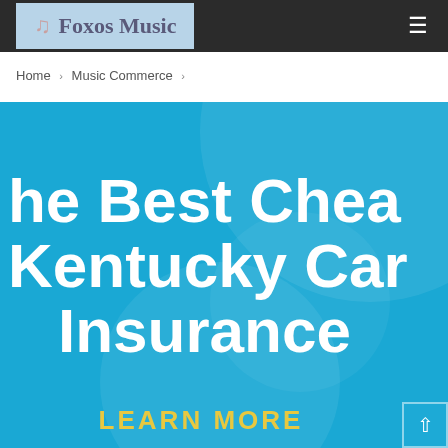Foxos Music
Home > Music Commerce >
[Figure (illustration): Blue banner image with large white bold text reading 'The Best Cheap Kentucky Car Insurance' and yellow text 'LEARN MORE' at the bottom. Contains decorative circular shapes in the background.]